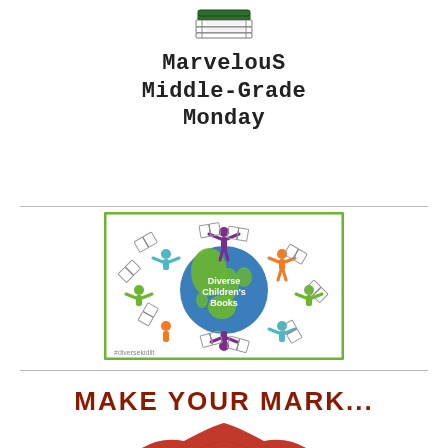[Figure (illustration): Stack of books illustration at the top]
Marvelous Middle-Grade Monday
[Figure (logo): Diverse Children's Books logo showing colorful figures holding books around a globe with text 'Diverse Children's Books' and '#diversekidlit']
MAKE YOUR MARK...
[Figure (illustration): Red/orange mountain or hill shape at bottom]